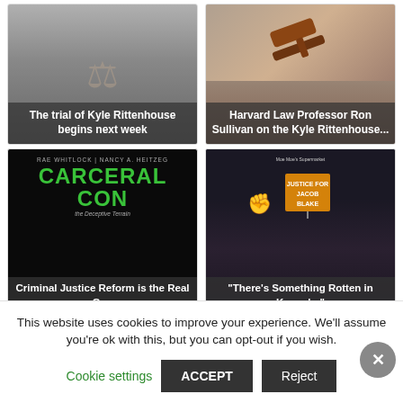[Figure (photo): Lady Justice statue photo with article title overlay: The trial of Kyle Rittenhouse begins next week]
[Figure (photo): Gavel photo with article title overlay: Harvard Law Professor Ron Sullivan on the Kyle Rittenhouse...]
[Figure (photo): Carceral Con book cover with article overlay: Criminal Justice Reform is the Real Con]
[Figure (photo): Protest photo with Justice for Jacob Blake sign with article overlay: There's Something Rotten in Kenosha]
A PUBLIC AFFAIR, BREAKING NEWS
This website uses cookies to improve your experience. We'll assume you're ok with this, but you can opt-out if you wish.
Cookie settings
ACCEPT
Reject